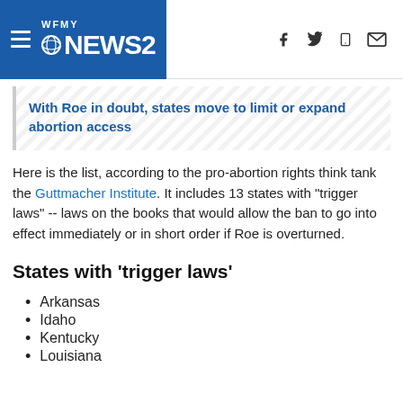WFMY NEWS 2
With Roe in doubt, states move to limit or expand abortion access
Here is the list, according to the pro-abortion rights think tank the Guttmacher Institute. It includes 13 states with "trigger laws" -- laws on the books that would allow the ban to go into effect immediately or in short order if Roe is overturned.
States with 'trigger laws'
Arkansas
Idaho
Kentucky
Louisiana